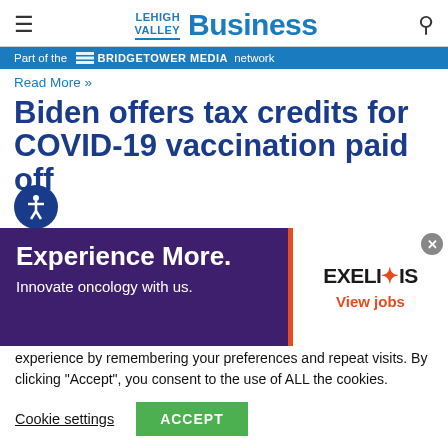LEHIGH VALLEY BUSINESS
Part of the BRIDGETOWER MEDIA network
Read More »
Biden offers tax credits for COVID-19 vaccination paid off
[Figure (infographic): Advertisement banner: Experience More. Innovate oncology with us. EXELIXIS View jobs]
President Joe Biden on Wednesday announced tax credits
We use cookies on our website to give you the most relevant experience by remembering your preferences and repeat visits. By clicking "Accept", you consent to the use of ALL the cookies.
Cookie settings    ACCEPT